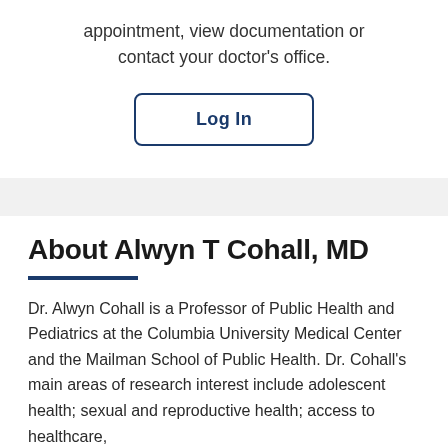appointment, view documentation or contact your doctor's office.
Log In
About Alwyn T Cohall, MD
Dr. Alwyn Cohall is a Professor of Public Health and Pediatrics at the Columbia University Medical Center and the Mailman School of Public Health. Dr. Cohall's main areas of research interest include adolescent health; sexual and reproductive health; access to healthcare,